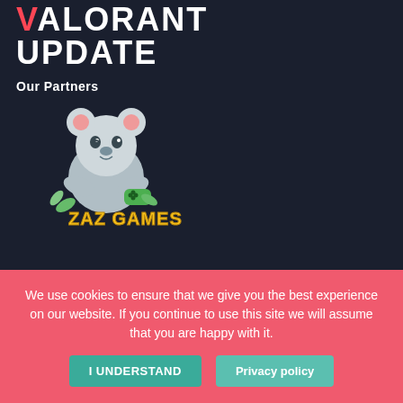VALORANT UPDATE
Our Partners
[Figure (logo): ZAZ GAMES logo featuring a cartoon koala holding a game controller with yellow stylized text 'ZAZ GAMES' and green leaf decorations]
Valorant Update
Home
We use cookies to ensure that we give you the best experience on our website. If you continue to use this site we will assume that you are happy with it.
I UNDERSTAND    Privacy policy